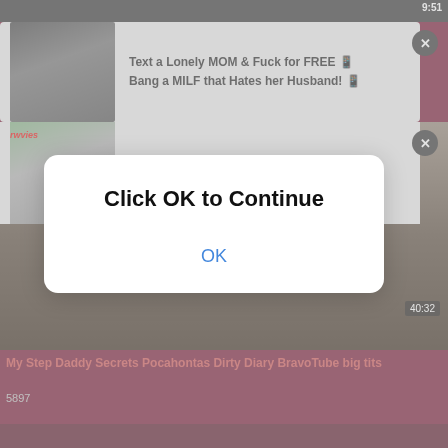[Figure (screenshot): Adult video website screenshot with popup ads and modal dialog overlay]
9:51
Text a Lonely MOM & Fuck for FREE
Bang a MILF that Hates her Husband!
Looking for Horny MILFs near Ashburn?
Text & Fuck a Queens MOM Near You
Click OK to Continue
OK
40:32
My Step Daddy Secrets Pocahontas Dirty Diary BravoTube big tits
5897